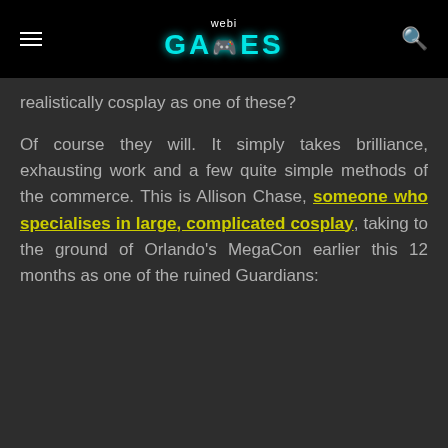webi GAMES
realistically cosplay as one of these?
Of course they will. It simply takes brilliance, exhausting work and a few quite simple methods of the commerce. This is Allison Chase, someone who specialises in large, complicated cosplay, taking to the ground of Orlando's MegaCon earlier this 12 months as one of the ruined Guardians: